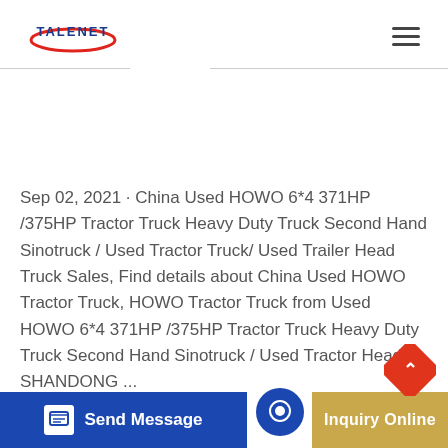[Figure (logo): TALENET logo with blue text and red swoosh ellipse]
Sep 02, 2021 · China Used HOWO 6*4 371HP /375HP Tractor Truck Heavy Duty Truck Second Hand Sinotruck / Used Tractor Truck/ Used Trailer Head Truck Sales, Find details about China Used HOWO Tractor Truck, HOWO Tractor Truck from Used HOWO 6*4 371HP /375HP Tractor Truck Heavy Duty Truck Second Hand Sinotruck / Used Tractor Head
SHANDONG ...
[Figure (screenshot): Send Message button (blue) on bottom left, chat circle icon in center-bottom, Inquiry Online button (golden) on bottom right, up-arrow red diamond button on right side]